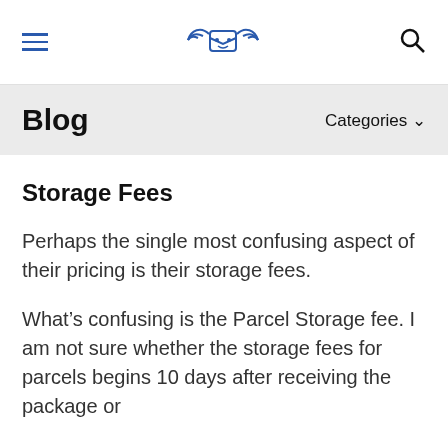≡  [logo]  🔍
Blog   Categories ∨
Storage Fees
Perhaps the single most confusing aspect of their pricing is their storage fees.
What's confusing is the Parcel Storage fee. I am not sure whether the storage fees for parcels begins 10 days after receiving the package or